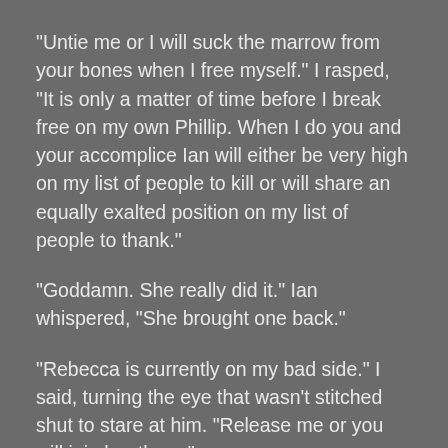“Untie me or I will suck the marrow from your bones when I free myself.”  I rasped, “It is only a matter of time before I break free on my own Phillip.  When I do you and your accomplice Ian will either be very high on my list of people to kill or will share an equally exalted position on my list of people to thank.”
“Goddamn.  She really did it.”  Ian whispered, “She brought one back.”
“Rebecca is currently on my bad side.”  I said, turning the eye that wasn’t stitched shut to stare at him.  “Release me or you will join her there.”
It was Phil who approached and unbuckled the strap around my forehead.  He touched my face, “You were so